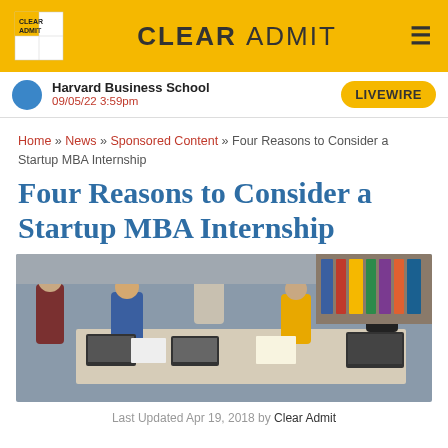CLEAR ADMIT
Harvard Business School
09/05/22 3:59pm
LIVEWIRE
Home » News » Sponsored Content » Four Reasons to Consider a Startup MBA Internship
Four Reasons to Consider a Startup MBA Internship
[Figure (photo): Overhead view of a group of young professionals working together at a large table with laptops, papers, and office supplies in a startup-style office environment]
Last Updated Apr 19, 2018 by Clear Admit